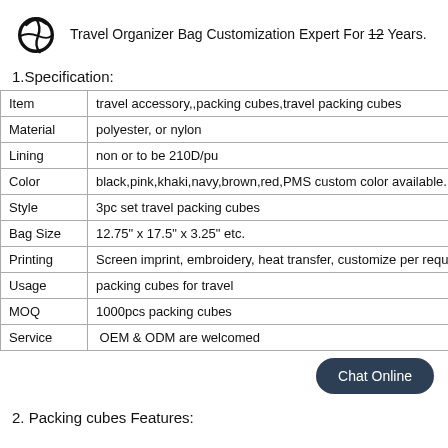Travel Organizer Bag Customization Expert For 12 Years.
1.Specification:
|  |  |
| --- | --- |
| Item | travel accessory,,packing cubes,travel packing cubes |
| Material | polyester, or nylon |
| Lining | non or to be 210D/pu |
| Color | black,pink,khaki,navy,brown,red,PMS custom color available. |
| Style | 3pc set travel packing cubes |
| Bag Size | 12.75" x 17.5" x 3.25" etc. |
| Printing | Screen imprint, embroidery, heat transfer, customize per requ... |
| Usage | packing cubes for travel |
| MOQ | 1000pcs packing cubes |
| Service | OEM & ODM are welcomed |
2. Packing cubes Features: